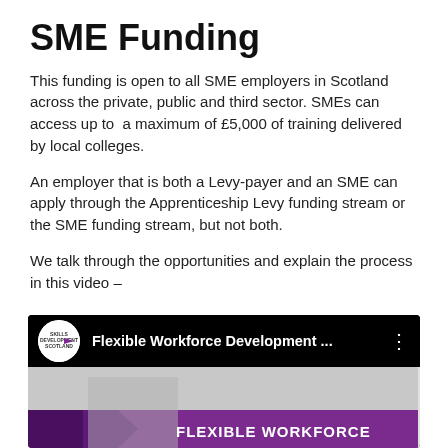SME Funding
This funding is open to all SME employers in Scotland across the private, public and third sector. SMEs can access up to a maximum of £5,000 of training delivered by local colleges.
An employer that is both a Levy-payer and an SME can apply through the Apprenticeship Levy funding stream or the SME funding stream, but not both.
We talk through the opportunities and explain the process in this video –
[Figure (screenshot): Embedded video thumbnail showing 'Flexible Workforce Development ...' with a Skills Development Scotland logo on black header bar, and a purple banner with 'FLEXIBLE WORKFORCE' text and a person in foreground.]